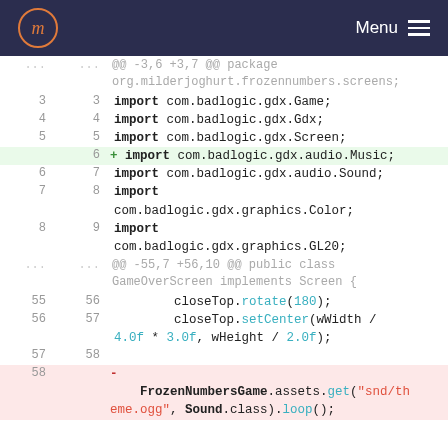Menu
@@ -3,6 +3,7 @@ package org.milderjoghurt.frozennumbers.screens;
3 3  import com.badlogic.gdx.Game;
4 4  import com.badlogic.gdx.Gdx;
5 5  import com.badlogic.gdx.Screen;
  6 + import com.badlogic.gdx.audio.Music;
6 7  import com.badlogic.gdx.audio.Sound;
7 8  import
      com.badlogic.gdx.graphics.Color;
8 9  import
      com.badlogic.gdx.graphics.GL20;
@@ -55,7 +56,10 @@ public class GameOverScreen implements Screen {
55 56      closeTop.rotate(180);
56 57      closeTop.setCenter(wWidth /
4.0f * 3.0f, wHeight / 2.0f);
57 58
58 -  FrozenNumbersGame.assets.get("snd/theme.ogg", Sound.class).loop();